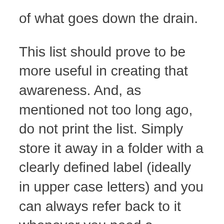of what goes down the drain.
This list should prove to be more useful in creating that awareness. And, as mentioned not too long ago, do not print the list. Simply store it away in a folder with a clearly defined label (ideally in upper case letters) and you can always refer back to it whenever you need a refresher or a reminder. Also, note that this list